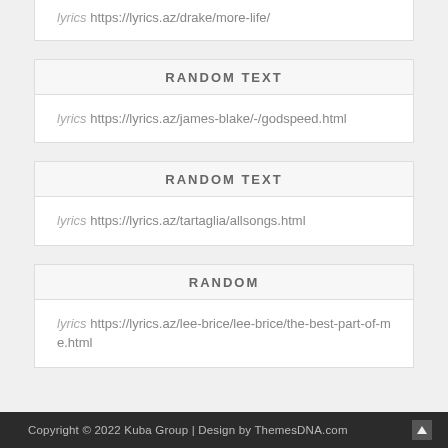lyrics https://lyrics.az/drake/more-life/
RANDOM TEXT
lyrics https://lyrics.az/james-blake/-/godspeed.html
RANDOM TEXT
lyrics https://lyrics.az/tartaglia/allsongs.html
RANDOM
lyrics https://lyrics.az/lee-brice/lee-brice/the-best-part-of-me.html
Copyright © 2022 Kuba Group | Design by ThemesDNA.com